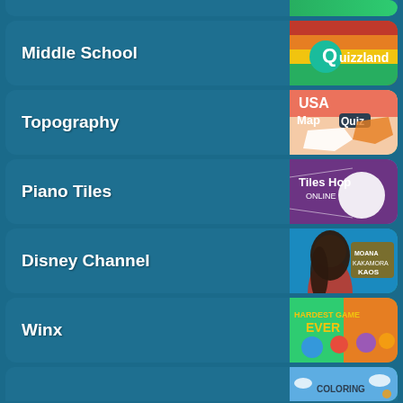Middle School
Topography
Piano Tiles
Disney Channel
Winx